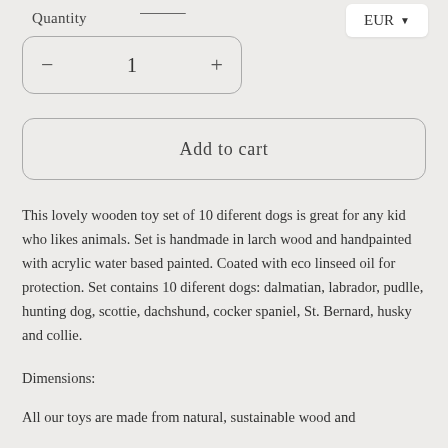[Figure (screenshot): Partial logo/link at top of page]
Quantity
[Figure (screenshot): EUR currency dropdown button]
[Figure (screenshot): Quantity stepper control with minus, 1, plus buttons]
[Figure (screenshot): Add to cart button]
This lovely wooden toy set of 10 diferent dogs is great for any kid who likes animals. Set is handmade in larch wood and handpainted with acrylic water based painted. Coated with eco linseed oil for protection. Set contains 10 diferent dogs: dalmatian, labrador, pudlle, hunting dog, scottie, dachshund, cocker spaniel, St. Bernard, husky and collie.
Dimensions:
All our toys are made from natural, sustainable wood and